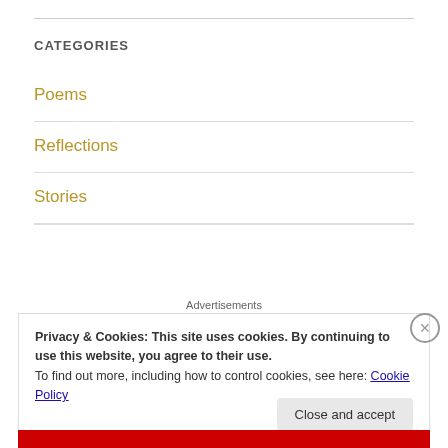CATEGORIES
Poems
Reflections
Stories
Advertisements
Privacy & Cookies: This site uses cookies. By continuing to use this website, you agree to their use.
To find out more, including how to control cookies, see here: Cookie Policy
Close and accept